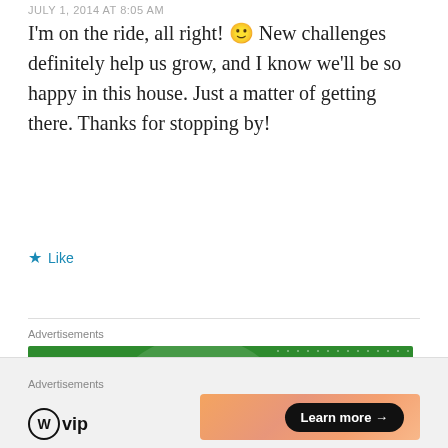JULY 1, 2014 AT 8:05 AM
I'm on the ride, all right! 🙂 New challenges definitely help us grow, and I know we'll be so happy in this house. Just a matter of getting there. Thanks for stopping by!
★ Like
Advertisements
[Figure (logo): Jetpack advertisement banner — green background with large translucent circle, dots pattern, and Jetpack logo (white circle with lightning bolt icon and 'Jetpack' text in white)]
Advertisements
[Figure (logo): WordPress VIP advertisement — light gray bar with WP VIP logo on left and a gradient salmon/peach banner on right with a black 'Learn more →' pill button]